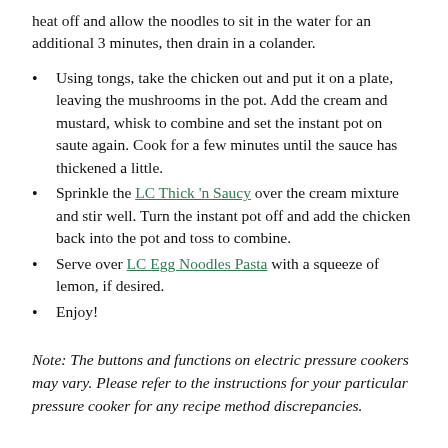heat off and allow the noodles to sit in the water for an additional 3 minutes, then drain in a colander.
Using tongs, take the chicken out and put it on a plate, leaving the mushrooms in the pot. Add the cream and mustard, whisk to combine and set the instant pot on saute again. Cook for a few minutes until the sauce has thickened a little.
Sprinkle the LC Thick 'n Saucy over the cream mixture and stir well. Turn the instant pot off and add the chicken back into the pot and toss to combine.
Serve over LC Egg Noodles Pasta with a squeeze of lemon, if desired.
Enjoy!
Note: The buttons and functions on electric pressure cookers may vary. Please refer to the instructions for your particular pressure cooker for any recipe method discrepancies.